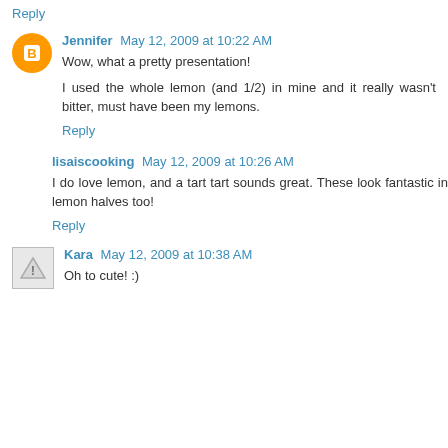Reply
Jennifer May 12, 2009 at 10:22 AM
Wow, what a pretty presentation!
I used the whole lemon (and 1/2) in mine and it really wasn't bitter, must have been my lemons.
Reply
lisaiscooking May 12, 2009 at 10:26 AM
I do love lemon, and a tart tart sounds great. These look fantastic in lemon halves too!
Reply
Kara May 12, 2009 at 10:38 AM
Oh to cute! :)